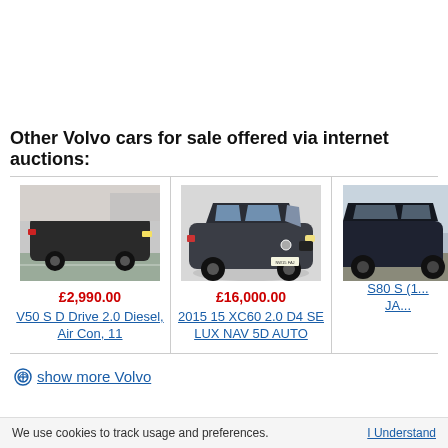Other Volvo cars for sale offered via internet auctions:
[Figure (photo): Photo of a dark Volvo V50 estate car in a car park]
£2,990.00
V50 S D Drive 2.0 Diesel, Air Con, 11
[Figure (photo): Photo of a dark grey Volvo XC60 SUV on a studio background]
£16,000.00
2015 15 XC60 2.0 D4 SE LUX NAV 5D AUTO
[Figure (photo): Partial photo of a Volvo S80 car, cropped at right edge]
S80 S (1... JA...
show more Volvo
We use cookies to track usage and preferences.    I Understand